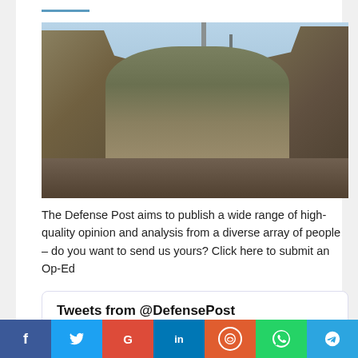[Figure (photo): A soldier in camouflage uniform sitting on military vehicle/equipment, reading or using a device, with antennas and military hardware visible in the background against a light sky.]
The Defense Post aims to publish a wide range of high-quality opinion and analysis from a diverse array of people – do you want to send us yours? Click here to submit an Op-Ed
Tweets from @DefensePost
f  t  G+  in  reddit  WhatsApp  Telegram